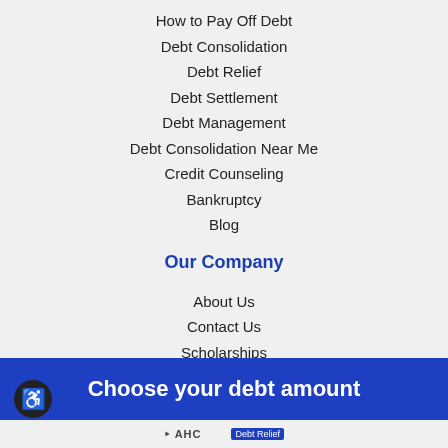How to Pay Off Debt
Debt Consolidation
Debt Relief
Debt Settlement
Debt Management
Debt Consolidation Near Me
Credit Counseling
Bankruptcy
Blog
Our Company
About Us
Contact Us
Scholarships
Partnerships
Espanol
Join Our Team
Unsubscribe
Choose your debt amount